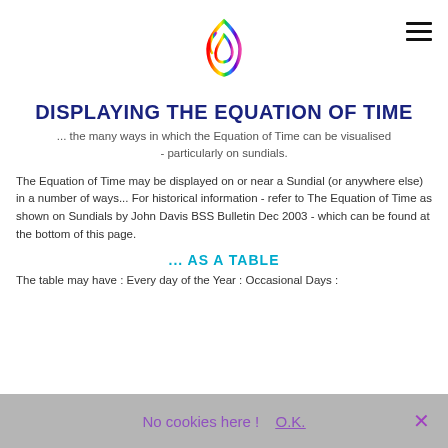[Figure (logo): Rainbow-colored flame/droplet logo icon at top center of page]
DISPLAYING THE EQUATION OF TIME
... the many ways in which the Equation of Time can be visualised - particularly on sundials.
The Equation of Time may be displayed on or near a Sundial (or anywhere else) in a number of ways... For historical information - refer to The Equation of Time as shown on Sundials by John Davis BSS Bulletin Dec 2003 - which can be found at the bottom of this page.
... AS A TABLE
The table may have : Every day of the Year : Occasional Days :
No cookies here !  O.K.